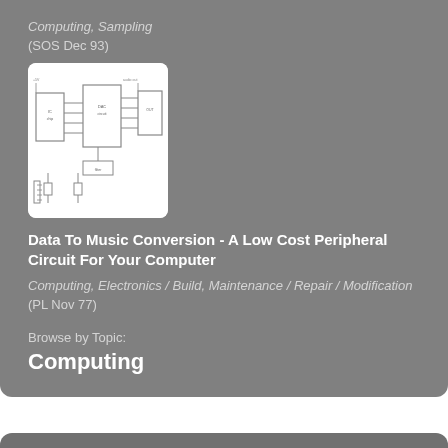Computing, Sampling
(SOS Dec 93)
[Figure (schematic): Thumbnail image of a circuit/schematic diagram for a low cost peripheral circuit]
Data To Music Conversion - A Low Cost Peripheral Circuit For Your Computer
Computing, Electronics / Build, Maintenance / Repair / Modification
(PL Nov 77)
Browse by Topic:
Computing
Back to:
Top | Issue contents